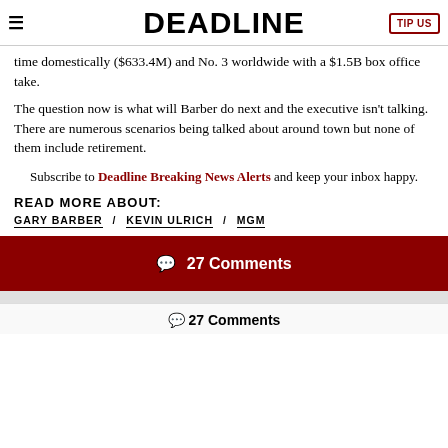≡  DEADLINE  TIP US
time domestically ($633.4M) and No. 3 worldwide with a $1.5B box office take.
The question now is what will Barber do next and the executive isn't talking. There are numerous scenarios being talked about around town but none of them include retirement.
Subscribe to Deadline Breaking News Alerts and keep your inbox happy.
READ MORE ABOUT:
GARY BARBER / KEVIN ULRICH / MGM
💬 27 Comments
27 Comments